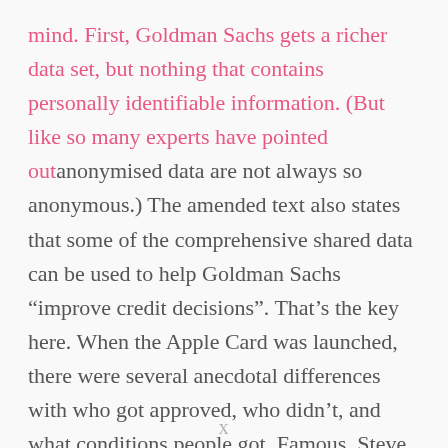mind. First, Goldman Sachs gets a richer data set, but nothing that contains personally identifiable information. (But like so many experts have pointed out anonymised data are not always so anonymous.) The amended text also states that some of the comprehensive shared data can be used to help Goldman Sachs "improve credit decisions". That's the key here. When the Apple Card was launched, there were several anecdotal differences with who got approved, who didn't, and what conditions people got. Famous, Steve Wozniak took to
X